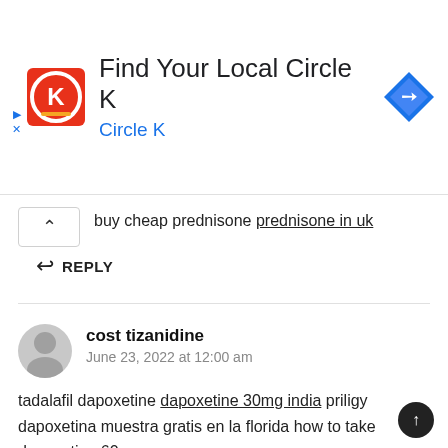[Figure (screenshot): Circle K advertisement banner with red/white circular logo, 'Find Your Local Circle K' title, blue 'Circle K' subtitle, and blue navigation diamond icon on the right. Small play and close (X) controls on the left edge.]
buy cheap prednisone prednisone in uk
↩ REPLY
cost tizanidine
June 23, 2022 at 12:00 am
tadalafil dapoxetine dapoxetine 30mg india priligy dapoxetina muestra gratis en la florida how to take dapoxetine 60 mg
↩ REPLY